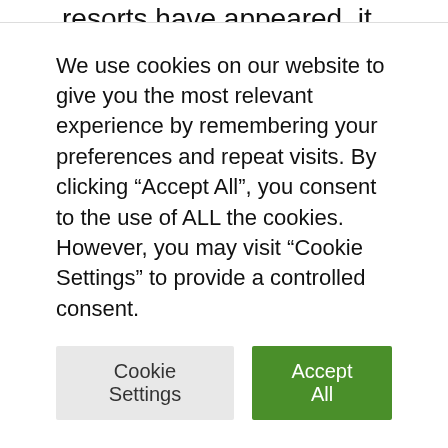resorts have appeared, it is difficult to single out one of them. Rostourism Travel Refund Program Helps Home Hoteliers Rebuild and Upgrade Facilities, making them even more attractive.
I would pay attention to the Armkhi resort in Ingushetia. Once upon a time there was the base of the Olympic Reserve. It is now a modern ski resort with a new hotel.
We use cookies on our website to give you the most relevant experience by remembering your preferences and repeat visits. By clicking “Accept All”, you consent to the use of ALL the cookies. However, you may visit "Cookie Settings" to provide a controlled consent.